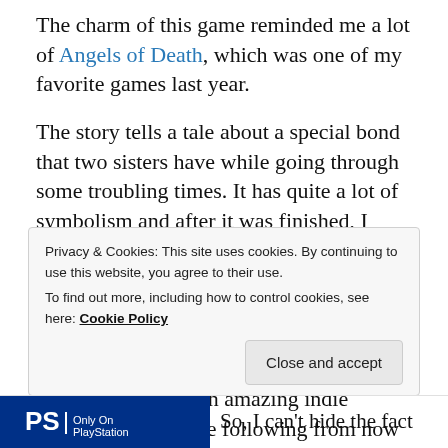The charm of this game reminded me a lot of Angels of Death, which was one of my favorite games last year.
The story tells a tale about a special bond that two sisters have while going through some troubling times. It has quite a lot of symbolism and after it was finished, I needed some time to let it all sink in. Recently, I have started one of the other games from this developer and I'm quite enjoying my time with that game as well. So, thank you for this game for introducing me to an amazing indie developer that I'll be following from now on.
Privacy & Cookies: This site uses cookies. By continuing to use this website, you agree to their use. To find out more, including how to control cookies, see here: Cookie Policy
Close and accept
[Figure (logo): PlayStation logo on blue background]
So, I can't hide the fact